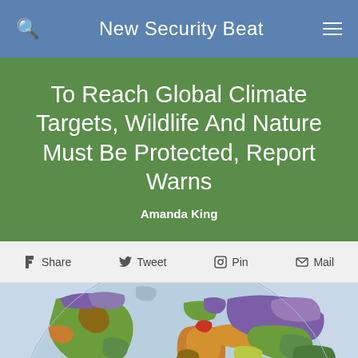New Security Beat
To Reach Global Climate Targets, Wildlife And Nature Must Be Protected, Report Warns
Amanda King
Share  Tweet  Pin  Mail
[Figure (map): Colorful world map showing biomes or land cover classification with various colors representing different ecosystem types across continents]